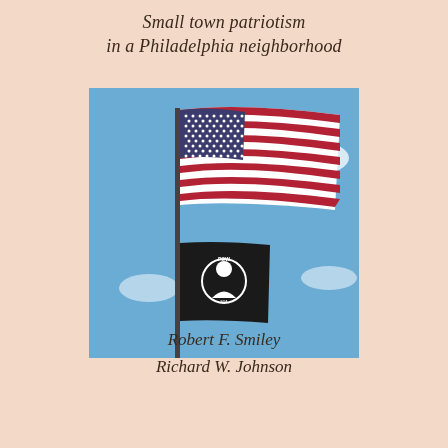Small town patriotism
in a Philadelphia neighborhood
[Figure (photo): American flag waving above a POW/MIA flag against a blue sky with clouds]
Robert F. Smiley
Richard W. Johnson